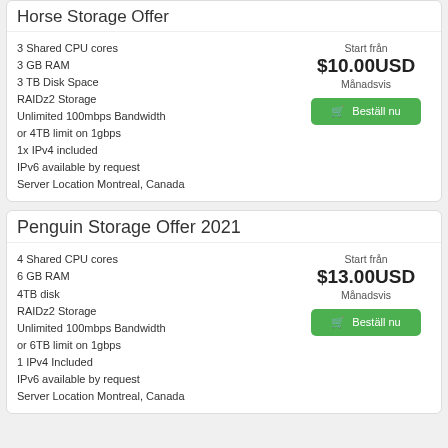Horse Storage Offer
3 Shared CPU cores
3 GB RAM
3 TB Disk Space
RAIDz2 Storage
Unlimited 100mbps Bandwidth or 4TB limit on 1gbps
1x IPv4 included
IPv6 available by request
Server Location Montreal, Canada
Start från $10.00USD Månadsvis
Penguin Storage Offer 2021
4 Shared CPU cores
6 GB RAM
4TB disk
RAIDz2 Storage
Unlimited 100mbps Bandwidth or 6TB limit on 1gbps
1 IPv4 Included
IPv6 available by request
Server Location Montreal, Canada
Start från $13.00USD Månadsvis